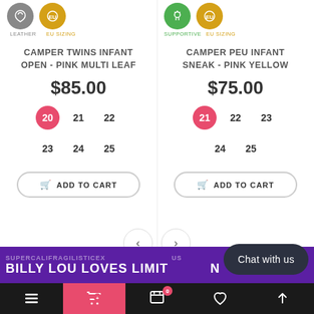[Figure (screenshot): Product icons: gray leather icon and gold EU sizing icon for left product; green supportive icon and gold EU sizing icon for right product]
CAMPER TWINS INFANT OPEN - PINK MULTI LEAF
$85.00
Sizes: 20 (selected), 21, 22, 23, 24, 25
ADD TO CART
CAMPER PEU INFANT SNEAK - PINK YELLOW
$75.00
Sizes: 21 (selected), 22, 23, 24, 25
ADD TO CART
SUPERCALIFRAGILISTICEX... BILLY LOU LOVES LIMIT...N
Chat with us
Navigation bar with menu, cart (0), wishlist, scroll-to-top icons